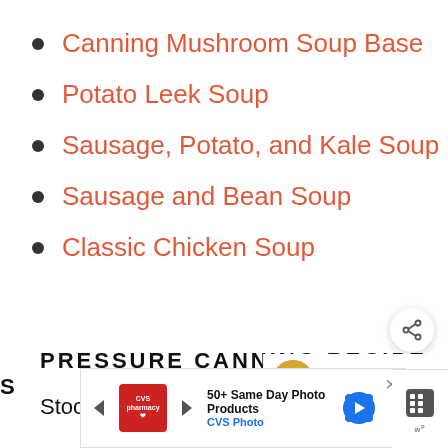Canning Mushroom Soup Base
Potato Leek Soup
Sausage, Potato, and Kale Soup
Sausage and Bean Soup
Classic Chicken Soup
PRESSURE CANNING RECIPES
Stock your pantry with these pressure
[Figure (other): Share button (circular icon with share/add symbol)]
[Figure (other): What's Next panel showing Classic Peach Jam thumbnail with arrow]
[Figure (other): CVS Photo advertisement banner: '50+ Same Day Photo Products, CVS Photo' with navigation icon and close button]